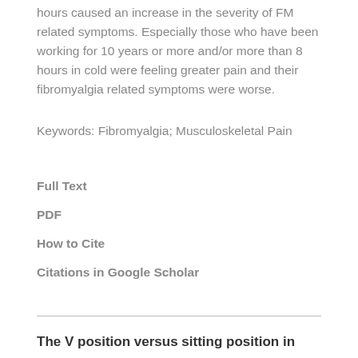hours caused an increase in the severity of FM related symptoms. Especially those who have been working for 10 years or more and/or more than 8 hours in cold were feeling greater pain and their fibromyalgia related symptoms were worse.
Keywords: Fibromyalgia; Musculoskeletal Pain
Full Text
PDF
How to Cite
Citations in Google Scholar
The V position versus sitting position in